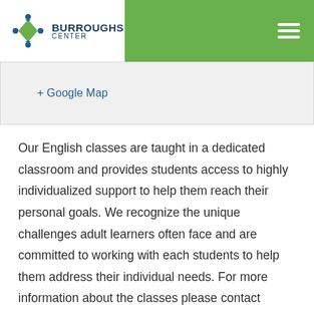Burroughs Center
+ Google Map
Our English classes are taught in a dedicated classroom and provides students access to highly individualized support to help them reach their personal goals. We recognize the unique challenges adult learners often face and are committed to working with each students to help them address their individual needs. For more information about the classes please contact Matilde, our language instructor at 203 334-0293 X 14.
Find out more »